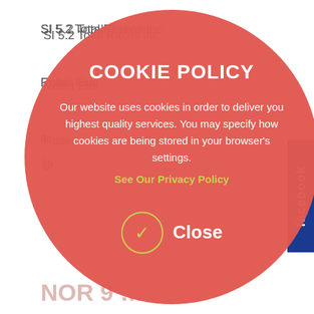SI  5.2 Total Races inc…
Robin Eva…
Race …
5t…
NOR 9 …
M …
Offi…
NOR 9.4 - clarifi…
There is no requirement to physically attend the skipper…
[Figure (screenshot): Cookie policy modal overlay — a large red circle covering the center of the page with the title 'COOKIE POLICY', body text explaining cookie usage, a green link 'See Our Privacy Policy', and a Close button with a checkmark circle]
COOKIE POLICY
Our website uses cookies in order to deliver you highest quality services. You may specify how cookies are being stored in your browser's settings.
See Our Privacy Policy
Close